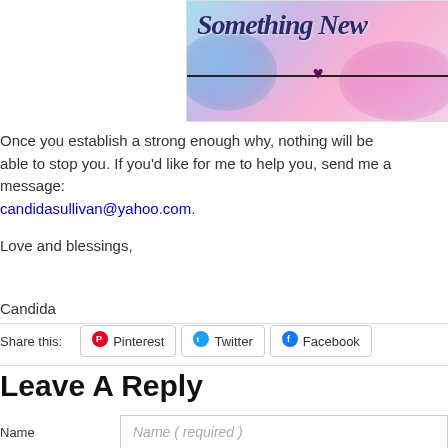[Figure (illustration): Watercolor banner with script text 'Something New' and decorative heart, blue and pink watercolor washes, horizontal line through center]
Once you establish a strong enough why, nothing will be able to stop you. If you'd like for me to help you, send me a message: candidasullivan@yahoo.com.
Love and blessings,
Candida
Share this:  Pinterest  Twitter  Facebook
Leave A Reply
Name  Name ( required )